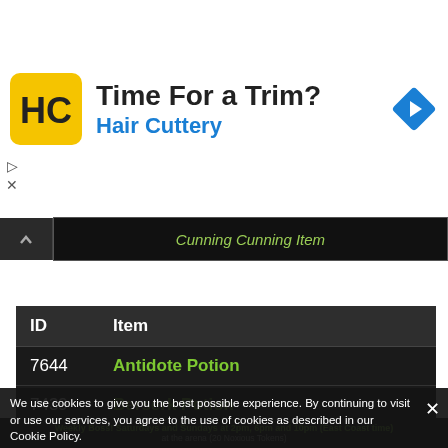[Figure (screenshot): Hair Cuttery advertisement banner with logo, 'Time For a Trim?' heading, 'Hair Cuttery' subtitle, and blue navigation arrow icon]
Potions
| ID | Item |
| --- | --- |
| 7644 | Antidote Potion |
| 7439 | Berserk Potion |
| 8758 | Bottle of Bug Milk |
| 7443 | Bullseye Potion |
| 6558 | Concentrated Demonic Blood |
We use cookies to give you the best possible experience. By continuing to visit or use our services, you agree to the use of cookies as described in our Cookie Policy.
Weekly Boss! Saturdays and Sundays at 2pm, 6pm and 10pm (East Coast time) at the arena (20 Noxious Tokens)